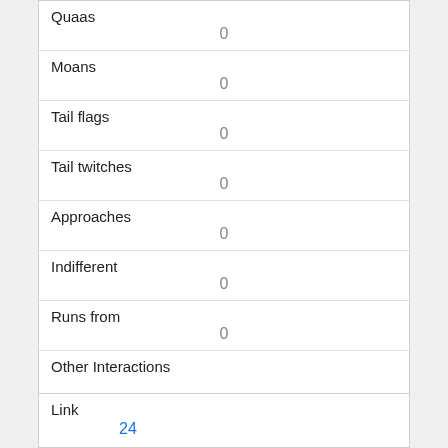| Quaas | 0 |
| Moans | 0 |
| Tail flags | 0 |
| Tail twitches | 0 |
| Approaches | 0 |
| Indifferent | 0 |
| Runs from | 0 |
| Other Interactions |  |
| Lat/Long | POINT (-73.9738033257473 40.7711846894166) |
| Link | 24 |